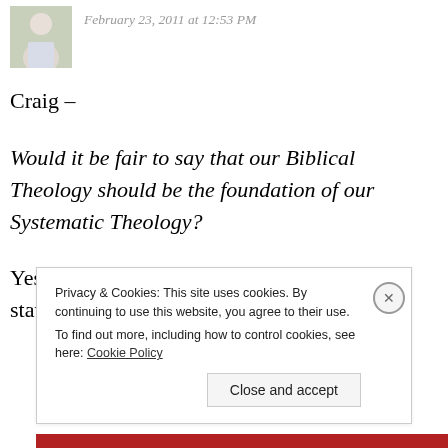February 23, 2011 at 12:53 PM
Craig –
Would it be fair to say that our Biblical Theology should be the foundation of our Systematic Theology?
Yes, I think that is probably a good summary statement.
Privacy & Cookies: This site uses cookies. By continuing to use this website, you agree to their use. To find out more, including how to control cookies, see here: Cookie Policy
Close and accept